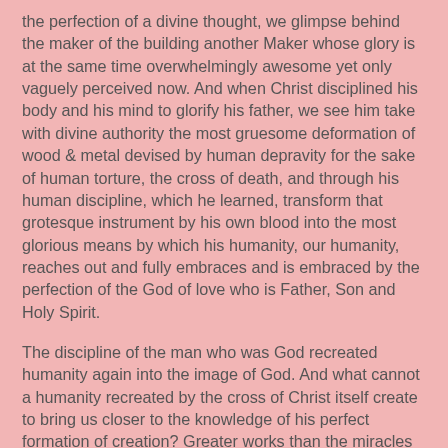the perfection of a divine thought, we glimpse behind the maker of the building another Maker whose glory is at the same time overwhelmingly awesome yet only vaguely perceived now. And when Christ disciplined his body and his mind to glorify his father, we see him take with divine authority the most gruesome deformation of wood & metal devised by human depravity for the sake of human torture, the cross of death, and through his human discipline, which he learned, transform that grotesque instrument by his own blood into the most glorious means by which his humanity, our humanity, reaches out and fully embraces and is embraced by the perfection of the God of love who is Father, Son and Holy Spirit.
The discipline of the man who was God recreated humanity again into the image of God. And what cannot a humanity recreated by the cross of Christ itself create to bring us closer to the knowledge of his perfect formation of creation? Greater works than the miracles he performed in his first ministry upon the earth he promised his people would do. The key to the grace of creativity is the grace of discipline, a discipline with its eyes set on the revelation of God in Christ,